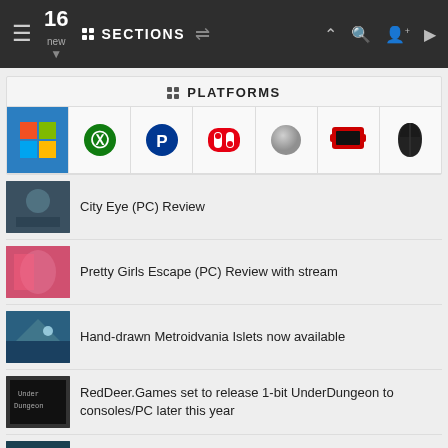16 new | SECTIONS
PLATFORMS
City Eye (PC) Review
Pretty Girls Escape (PC) Review with stream
Hand-drawn Metroidvania Islets now available
RedDeer.Games set to release 1-bit UnderDungeon to consoles/PC later this year
Ultimate Fishing Simulator 2 now in Early Access, console release planned later
VIEW ALL